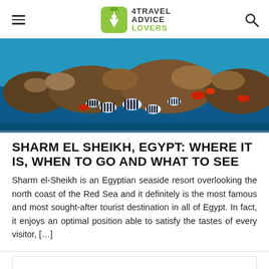4TRAVEL ADVICE LOVERS
[Figure (photo): Underwater coral reef scene with striped tropical fish and colorful coral formations in the Red Sea]
SHARM EL SHEIKH, EGYPT: WHERE IT IS, WHEN TO GO AND WHAT TO SEE
Sharm el-Sheikh is an Egyptian seaside resort overlooking the north coast of the Red Sea and it definitely is the most famous and most sought-after tourist destination in all of Egypt. In fact, it enjoys an optimal position able to satisfy the tastes of every visitor, […]